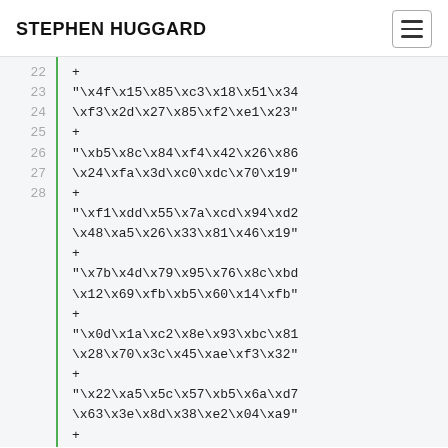STEPHEN HUGGARD
22
23
24
25
26
27
28
"\x4f\x15\x85\xc3\x18\x51\x34\xf3\x2d\x27\x85\xf2\xe1\x23"
+
"\xb5\x8c\x84\xf4\x42\x26\x86\x24\xfa\x3d\xc0\xdc\x70\x19"
+
"\xf1\xdd\x55\x7a\xcd\x94\xd2\x48\xa5\x26\x33\x81\x46\x19"
+
"\x7b\x4d\x79\x95\x76\x8c\xbd\x12\x69\xfb\xb5\x60\x14\xfb"
+
"\x0d\x1a\xc2\x8e\x93\xbc\x81\x28\x70\x3c\x45\xae\xf3\x32"
+
"\x22\xa5\x5c\x57\xb5\x6a\xd7\x63\x3e\x8d\x38\xe2\x04\xa9"
+
"\x9c\xae\xdf\xd0\x85\x0a\xb1\xed\xd6\xf3\x6e\x4b\x9c\x16"
+
"\x7a\xed\xff\x7e\x4f\xc3\xff